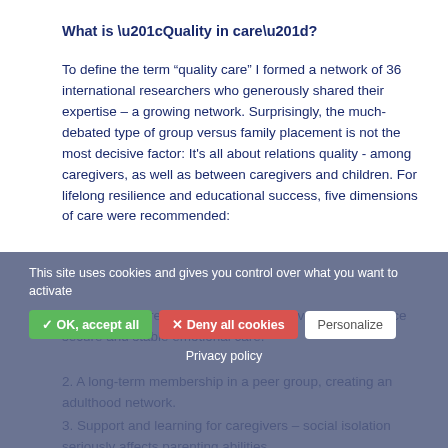What is “Quality in care”?
To define the term “quality care” I formed a network of 36 international researchers who generously shared their expertise – a growing network. Surprisingly, the much-debated type of group versus family placement is not the most decisive factor: It’s all about relations quality - among caregivers, as well as between caregivers and children. For lifelong resilience and educational success, five dimensions of care were recommended:
1. A long-term relation with a few caregivers, who practice secure and stable emotional care.
2. A long-term membership in a peer group, creating an adulthood network.
3. Support and learning for caregivers – social isolation seriously affects parenting abilities.
4. Agreement between those the child or youth are